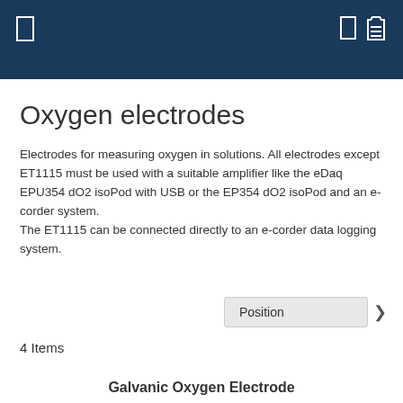Oxygen electrodes
Electrodes for measuring oxygen in solutions. All electrodes except ET1115 must be used with a suitable amplifier like the eDaq EPU354 dO2 isoPod with USB or the EP354 dO2 isoPod and an e-corder system.
The ET1115 can be connected directly to an e-corder data logging system.
Position
4 Items
Galvanic Oxygen Electrode